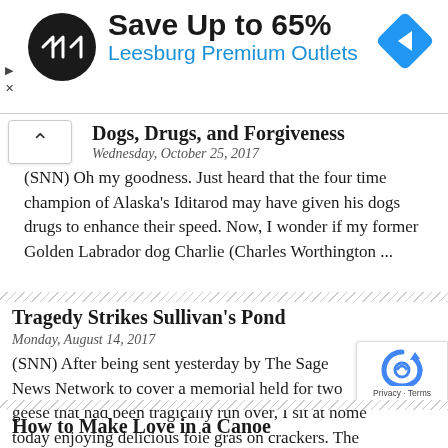[Figure (infographic): Advertisement banner: Save Up to 65% Leesburg Premium Outlets with circular black logo and blue diamond navigation icon]
Dogs, Drugs, and Forgiveness
Wednesday, October 25, 2017
(SNN) Oh my goodness. Just heard that the four time champion of Alaska's Iditarod may have given his dogs drugs to enhance their speed. Now, I wonder if my former Golden Labrador dog Charlie (Charles Worthington ...
Tragedy Strikes Sullivan's Pond
Monday, August 14, 2017
(SNN) After being sent yesterday by The Sage News Network to cover a memorial held for two geese that had been tragically run over, I sit at home today enjoying delicious foie gras on crackers. The event was held ...
How to Make Love in a Canoe